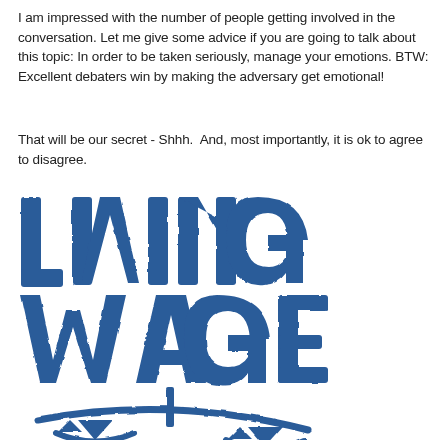I am impressed with the number of people getting involved in the conversation. Let me give some advice if you are going to talk about this topic: In order to be taken seriously, manage your emotions. BTW: Excellent debaters win by making the adversary get emotional!
That will be our secret - Shhh.  And, most importantly, it is ok to agree to disagree.
[Figure (logo): A large blue stamp-style logo reading 'LIVING WAGE' in bold distressed block letters, with an unbalanced scale icon below — one side lower than the other — rendered in the same blue distressed stamp style.]